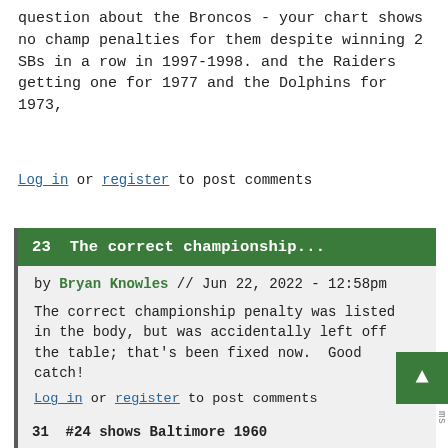question about the Broncos - your chart shows no champ penalties for them despite winning 2 SBs in a row in 1997-1998. and the Raiders getting one for 1977 and the Dolphins for 1973,
Log in or register to post comments
23  The correct championship...
by Bryan Knowles // Jun 22, 2022 - 12:58pm
The correct championship penalty was listed in the body, but was accidentally left off the table; that's been fixed now.  Good catch!
Log in or register to post comments
31  #24 shows Baltimore 1960